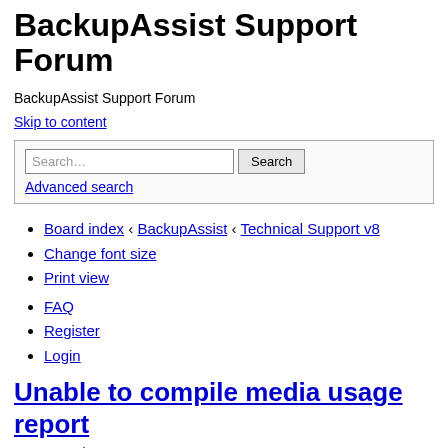BackupAssist Support Forum
BackupAssist Support Forum
Skip to content
Search… [input] Search [button]
Advanced search
Board index ‹ BackupAssist ‹ Technical Support v8
Change font size
Print view
FAQ
Register
Login
Unable to compile media usage report
Post a reply
Search this topic… [input] Search [button]